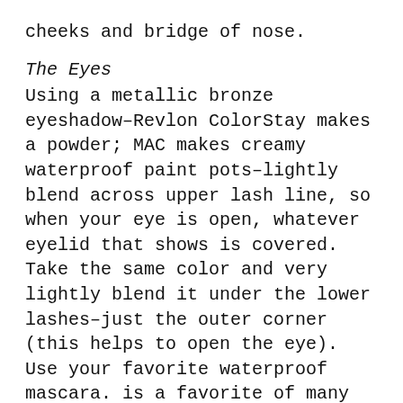cheeks and bridge of nose.
The Eyes
Using a metallic bronze eyeshadow–Revlon ColorStay makes a powder; MAC makes creamy waterproof paint pots–lightly blend across upper lash line, so when your eye is open, whatever eyelid that shows is covered. Take the same color and very lightly blend it under the lower lashes–just the outer corner (this helps to open the eye). Use your favorite waterproof mascara. is a favorite of many and offers a lash that is thick and long.